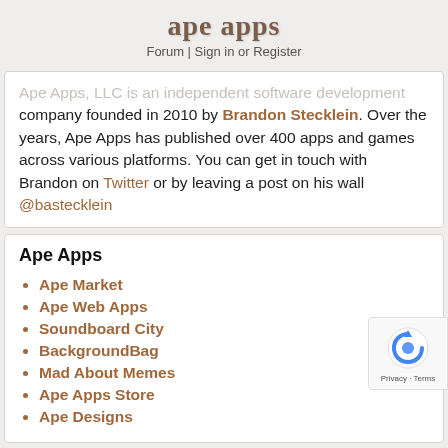ape apps
Forum | Sign in or Register
Ape Apps, LLC is an independent software development company founded in 2010 by Brandon Stecklein. Over the years, Ape Apps has published over 400 apps and games across various platforms. You can get in touch with Brandon on Twitter or by leaving a post on his wall @bastecklein
Ape Apps
Ape Market
Ape Web Apps
Soundboard City
BackgroundBag
Mad About Memes
Ape Apps Store
Ape Designs
App of the Day